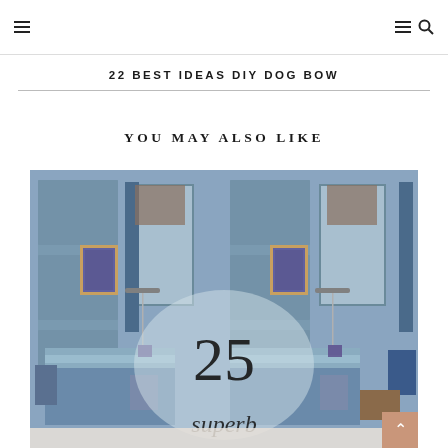☰  [nav icons] ☰ 🔍
22 BEST IDEAS DIY DOG BOW
YOU MAY ALSO LIKE
[Figure (photo): A blue-toned bedroom interior shown twice side-by-side, with paneled walls, dark curtains, a bed, lamps, and a portrait painting. A semi-transparent circle overlay shows the number 25 and the word 'superb' below it.]